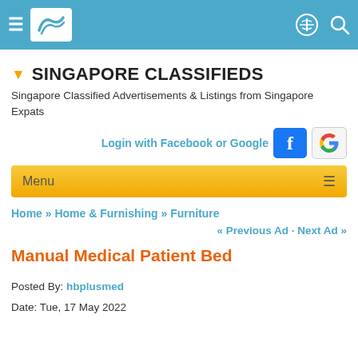Singapore Expats navigation bar with logo, hamburger menu, and search icons
SINGAPORE CLASSIFIEDS
Singapore Classified Advertisements & Listings from Singapore Expats
Login with Facebook or Google
Menu
Home » Home & Furnishing » Furniture
« Previous Ad · Next Ad »
Manual Medical Patient Bed
Posted By: hbplusmed
Date: Tue, 17 May 2022